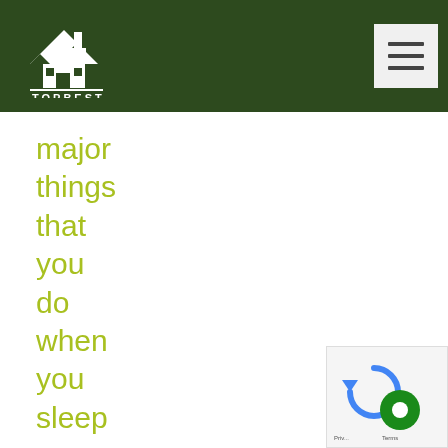TOPBEST
major things that you do when you sleep — dream and breathe. Unfortunately,